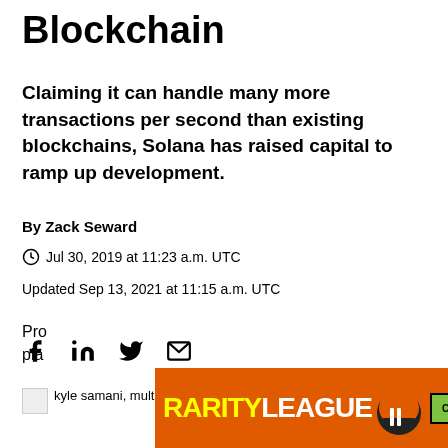Blockchain
Claiming it can handle many more transactions per second than existing blockchains, Solana has raised capital to ramp up development.
By Zack Seward
Jul 30, 2019 at 11:23 a.m. UTC
Updated Sep 13, 2021 at 11:15 a.m. UTC
[Figure (illustration): Social sharing icons: Facebook, LinkedIn, Twitter, Email]
kyle samani, multicoin
Pro... pla...
[Figure (photo): Advertisement banner: RARITYLEAGUE with NFL helmet and COLLECT NOW button]